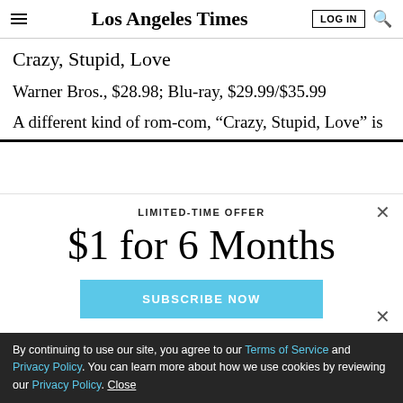Los Angeles Times
Crazy, Stupid, Love
Warner Bros., $28.98; Blu-ray, $29.99/$35.99
A different kind of rom-com, “Crazy, Stupid, Love” is
LIMITED-TIME OFFER
$1 for 6 Months
SUBSCRIBE NOW
By continuing to use our site, you agree to our Terms of Service and Privacy Policy. You can learn more about how we use cookies by reviewing our Privacy Policy. Close